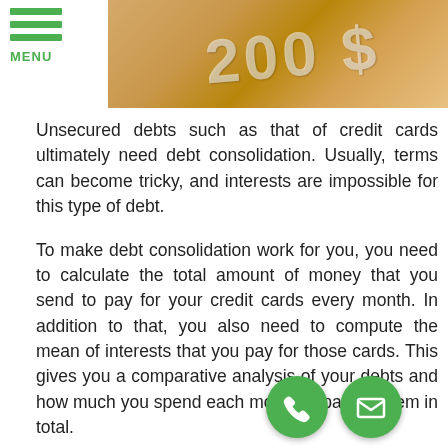MENU [hero image with currency/money background]
Unsecured debts such as that of credit cards ultimately need debt consolidation. Usually, terms can become tricky, and interests are impossible for this type of debt.
To make debt consolidation work for you, you need to calculate the total amount of money that you send to pay for your credit cards every month. In addition to that, you also need to compute the mean of interests that you pay for those cards. This gives you a comparative analysis of your debts and how much you spend each month to pay for them in total.
After that, take a look at your budget per month. Add the total value of other expenses such as necessities (food, electricity and water bills, medications, hygienic needs, etc.), residential fees, transportation, utilities, and others. How much is left now?